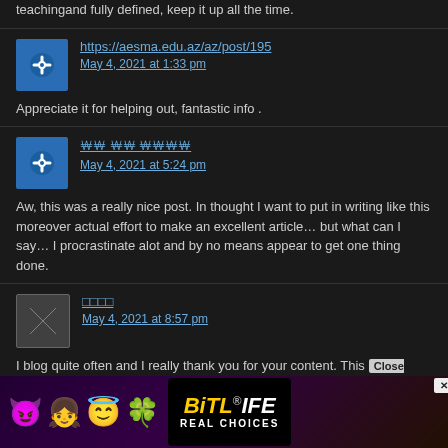teachingand fully defined, keep it up all the time.
https://aesma.edu.az/az/post/195
May 4, 2021 at 1:33 pm
Appreciate it for helping out, fantastic info .
□□ □□ □□□□
May 4, 2021 at 5:24 pm
Aw, this was a really nice post. In thought I want to put in writing like this moreover actual effort to make an excellent article… but what can I say… I procrastinate alot and by no means appear to get one thing done.
□□□□
May 4, 2021 at 8:57 pm
I blog quite often and I really thank you for your content. This article has really peaked my interest. I will book mark your website and keep checking for new details about once a week. I opted in for you
[Figure (advertisement): BitLife Real Choices advertisement banner with emoji characters and Close X button overlay]